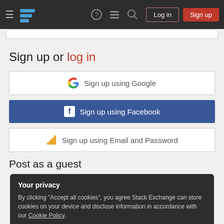Stack Exchange navigation header with logo, help, inbox, search, Log in and Sign up buttons
Sign up or log in
[Figure (screenshot): Sign up using Google button]
[Figure (screenshot): Sign up using Facebook button]
[Figure (screenshot): Sign up using Email and Password button]
Post as a guest
Your privacy
By clicking "Accept all cookies", you agree Stack Exchange can store cookies on your device and disclose information in accordance with our Cookie Policy.
Accept all cookies   Customize settings